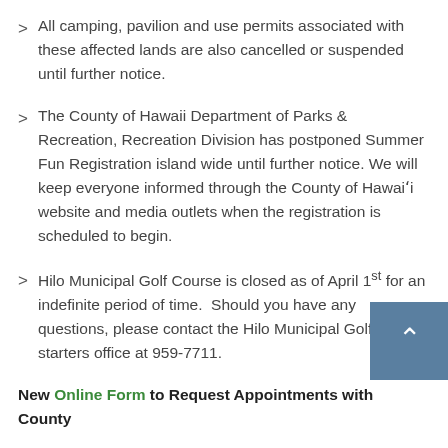All camping, pavilion and use permits associated with these affected lands are also cancelled or suspended until further notice.
The County of Hawaii Department of Parks & Recreation, Recreation Division has postponed Summer Fun Registration island wide until further notice. We will keep everyone informed through the County of Hawaiʻi website and media outlets when the registration is scheduled to begin.
Hilo Municipal Golf Course is closed as of April 1st for an indefinite period of time.  Should you have any questions, please contact the Hilo Municipal Golf Course starters office at 959-7711.
New Online Form to Request Appointments with County